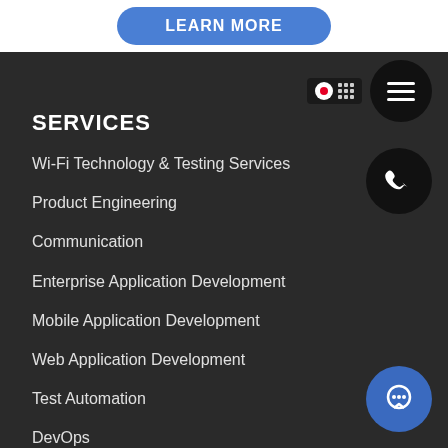[Figure (screenshot): LEARN MORE button at the top in a blue rounded rectangle on white background]
[Figure (other): Language selector flag icon with Japanese flag and grid icon, and hamburger menu circle button]
[Figure (other): Phone icon in black circle button]
SERVICES
Wi-Fi Technology & Testing Services
Product Engineering
Communication
Enterprise Application Development
Mobile Application Development
Web Application Development
Test Automation
DevOps
Technical Documentation
[Figure (other): Chat/support icon in blue circle button at bottom right]